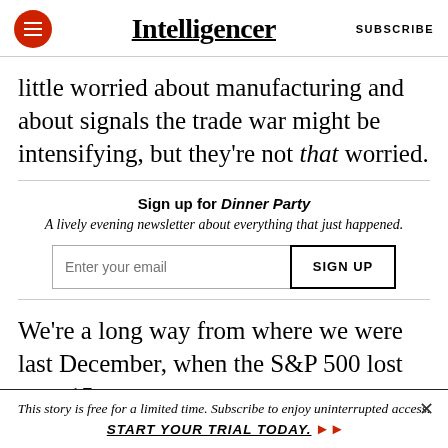Intelligencer | SUBSCRIBE
little worried about manufacturing and about signals the trade war might be intensifying, but they're not that worried.
Sign up for Dinner Party
A lively evening newsletter about everything that just happened.
We're a long way from where we were last December, when the S&P 500 lost over 15 percent
This story is free for a limited time. Subscribe to enjoy uninterrupted access. START YOUR TRIAL TODAY.